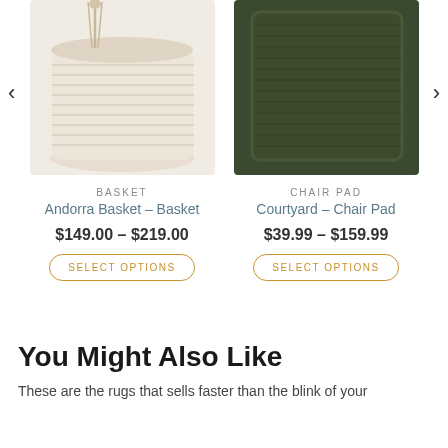[Figure (photo): Cream-colored woven rope basket with tassel handles]
[Figure (photo): Dark olive green braided chair pad]
BASKET
Andorra Basket – Basket
$149.00 – $219.00
SELECT OPTIONS
CHAIR PAD
Courtyard – Chair Pad
$39.99 – $159.99
SELECT OPTIONS
You Might Also Like
These are the rugs that sells faster than the blink of your